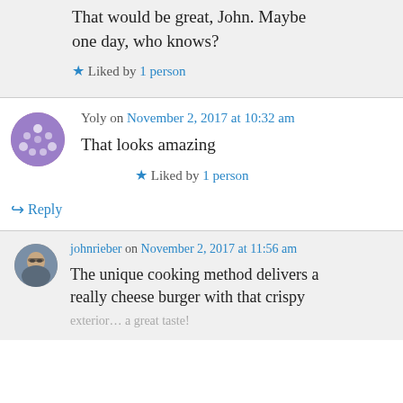That would be great, John. Maybe one day, who knows?
★ Liked by 1 person
Yoly on November 2, 2017 at 10:32 am
That looks amazing
★ Liked by 1 person
↪ Reply
johnrieber on November 2, 2017 at 11:56 am
The unique cooking method delivers a really cheese burger with that crispy exterior… a great taste!